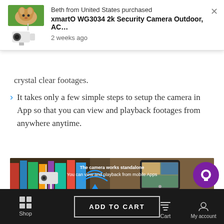[Figure (screenshot): Purchase notification popup showing Beth from United States purchased xmartO WG3034 2k Security Camera Outdoor with product image and timestamp '2 weeks ago']
crystal clear footages.
It takes only a few simple steps to setup the camera in App so that you can view and playback footages from anywhere anytime.
[Figure (photo): Product promotional image showing security camera working standalone with mobile app view. Text: 'The camera works standalone You can view and playback from mobile Apps']
[Figure (photo): Product promotional image showing multiple cameras added to app with multi-view. Text: 'You can add multiple cameras to the App group them to a multi-view and view all camera in one tap']
Shop   ADD TO CART   Cart   My account